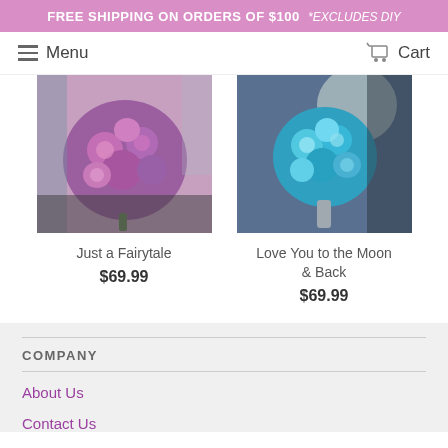FREE SHIPPING ON ORDERS OF $100 *EXCLUDES DIY
Menu  Cart
[Figure (photo): Purple and pink flower bouquet - Just a Fairytale product image]
Just a Fairytale
$69.99
[Figure (photo): Blue and teal flower bouquet held by a person - Love You to the Moon & Back product image]
Love You to the Moon & Back
$69.99
COMPANY
About Us
Contact Us